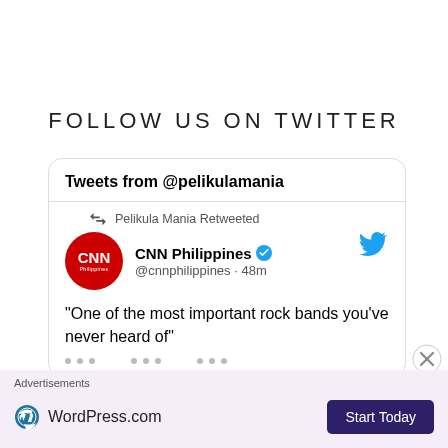FOLLOW US ON TWITTER
Tweets from @pelikulamania
Pelikula Mania Retweeted
CNN Philippines @cnnphilippines · 48m
"One of the most important rock bands you've never heard of"
Advertisements
[Figure (logo): WordPress.com logo with Start Today button on pink/lavender advertisement bar]